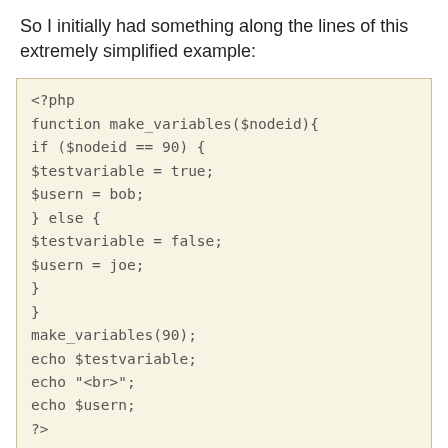So I initially had something along the lines of this extremely simplified example:
[Figure (screenshot): PHP code block showing a function make_variables($nodeid) with if/else logic setting $testvariable and $usern, then calling make_variables(90) and echoing the results.]
Anyone who codes more regularly than I with PHP will immediately know what result I got. It wasn’t “true” and “bob”… It was error message saying that $testvariable and $usern effectively don’t exist. I do have some familiarity with coding (Lots of Bash, some Python) and immediately figured it might be related to scoping. Essentially, scoping means that those variables ONLY exist within the function. So basically all the control idea of